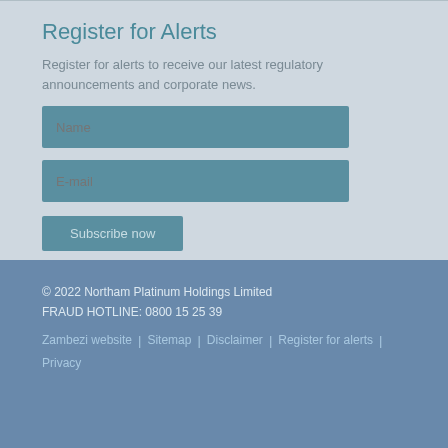Register for Alerts
Register for alerts to receive our latest regulatory announcements and corporate news.
[Figure (screenshot): Name input field (text box with placeholder 'Name')]
[Figure (screenshot): E-mail input field (text box with placeholder 'E-mail')]
[Figure (screenshot): Subscribe now button]
© 2022 Northam Platinum Holdings Limited
FRAUD HOTLINE: 0800 15 25 39
Zambezi website | Sitemap | Disclaimer | Register for alerts | Privacy